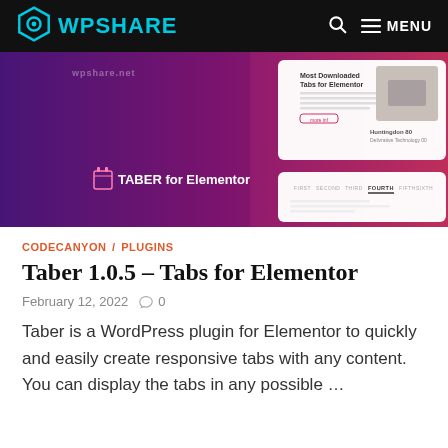WPSHARE | MENU
[Figure (screenshot): Screenshot of the Taber for Elementor plugin banner showing purple-to-red gradient background with plugin logo and UI preview panels on the right.]
CODECANYON / PLUGINS
Taber 1.0.5 – Tabs for Elementor
February 12, 2022  💬 0
Taber is a WordPress plugin for Elementor to quickly and easily create responsive tabs with any content. You can display the tabs in any possible …